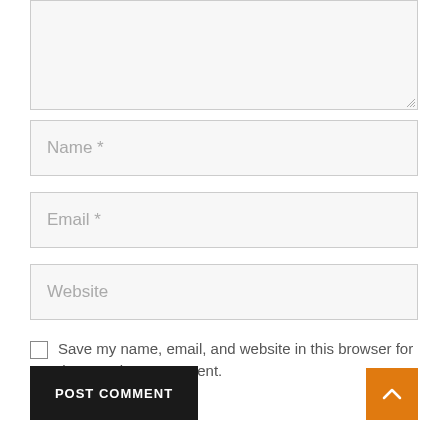[Figure (screenshot): Textarea input box (comment field) — top portion visible, partially cut off, with resize handle at bottom-right corner]
Name *
Email *
Website
Save my name, email, and website in this browser for the next time I comment.
POST COMMENT
[Figure (other): Orange scroll-to-top button with upward chevron arrow]